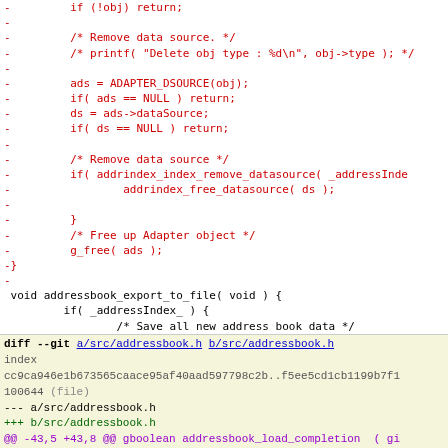[Figure (screenshot): Code diff view showing removed lines (in red) with C code for removing a data source, freeing adapter objects, and a function addressbook_export_to_file, followed by a git diff header for a/src/addressbook.h and b/src/addressbook.h with index hash, file mode, and diff hunks showing changes to gboolean addressbook_load_completion and void addressbook_gather function signatures.]